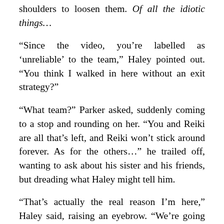shoulders to loosen them. Of all the idiotic things…
“Since the video, you’re labelled as ‘unreliable’ to the team,” Haley pointed out. “You think I walked in here without an exit strategy?”
“What team?” Parker asked, suddenly coming to a stop and rounding on her. “You and Reiki are all that’s left, and Reiki won’t stick around forever. As for the others…” he trailed off, wanting to ask about his sister and his friends, but dreading what Haley might tell him.
“That’s actually the real reason I’m here,” Haley said, raising an eyebrow. “We’re going after David.”
Parker blinked. “David?” he repeated. “You and Reiki are going after the guy who can shoot lightning from his